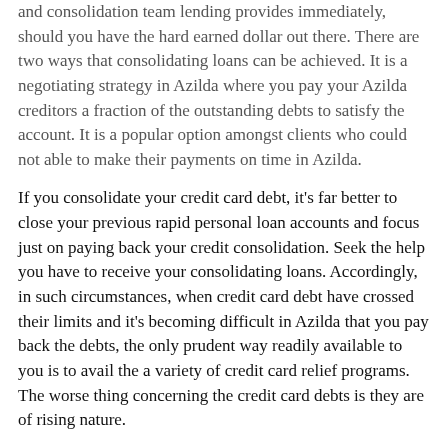...and consolidation team lending provides immediately, should you have the hard earned dollar out there. There are two ways that consolidating loans can be achieved. It is a negotiating strategy in Azilda where you pay your Azilda creditors a fraction of the outstanding debts to satisfy the account. It is a popular option amongst clients who could not able to make their payments on time in Azilda.
If you consolidate your credit card debt, it's far better to close your previous rapid personal loan accounts and focus just on paying back your credit consolidation. Seek the help you have to receive your consolidating loans. Accordingly, in such circumstances, when credit card debt have crossed their limits and it's becoming difficult in Azilda that you pay back the debts, the only prudent way readily available to you is to avail the a variety of credit card relief programs. The worse thing concerning the credit card debts is they are of rising nature.
Ask Azilda People About Ontario Debt Consolidation
When you've paid off your credit cards, you can operate to enhance your frequent credit score. A significant part decreasing your credit card debts reducing your expenses. If you own a lot of credit cards, the chances and ability they are in danger thinking about credit...